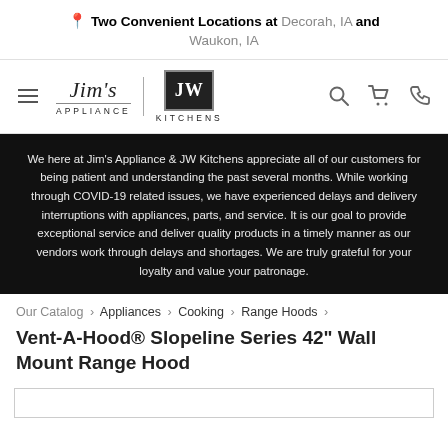Two Convenient Locations at Decorah, IA and Waukon, IA
[Figure (logo): Jim's Appliance and JW Kitchens logos with navigation icons (hamburger menu, search, cart, phone)]
We here at Jim's Appliance & JW Kitchens appreciate all of our customers for being patient and understanding the past several months. While working through COVID-19 related issues, we have experienced delays and delivery interruptions with appliances, parts, and service. It is our goal to provide exceptional service and deliver quality products in a timely manner as our vendors work through delays and shortages. We are truly grateful for your loyalty and value your patronage.
Our Catalog › Appliances › Cooking › Range Hoods ›
Vent-A-Hood® Slopeline Series 42" Wall Mount Range Hood